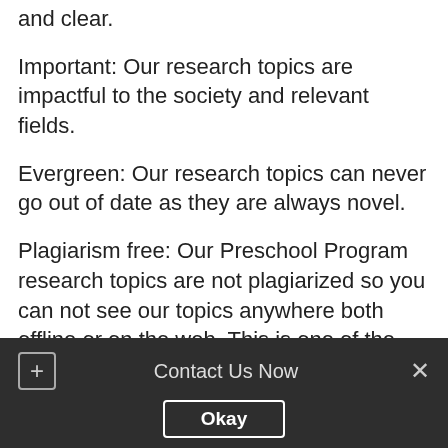and clear.
Important: Our research topics are impactful to the society and relevant fields.
Evergreen: Our research topics can never go out of date as they are always novel.
Plagiarism free: Our Preschool Program research topics are not plagiarized so you can not see our topics anywhere both offline or on the web. This is one of the reasons that makes them very unique.
Contact Us Now  Okay